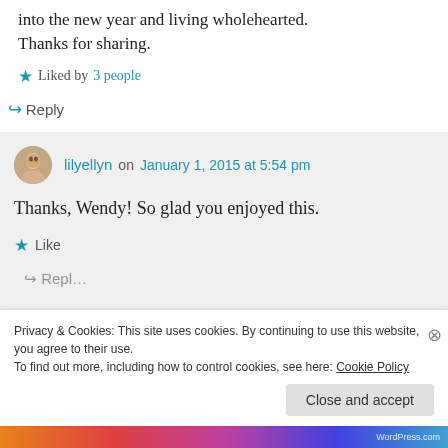into the new year and living wholehearted. Thanks for sharing.
★ Liked by 3 people
↪ Reply
lilyellyn on January 1, 2015 at 5:54 pm
Thanks, Wendy! So glad you enjoyed this.
★ Like
Privacy & Cookies: This site uses cookies. By continuing to use this website, you agree to their use. To find out more, including how to control cookies, see here: Cookie Policy
Close and accept